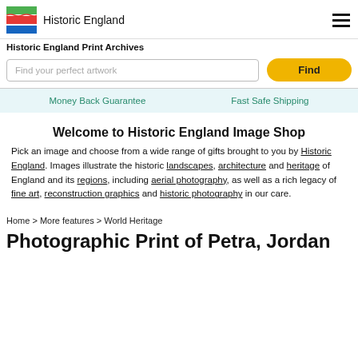Historic England
Historic England Print Archives
Find your perfect artwork
Find
Money Back Guarantee    Fast Safe Shipping
Welcome to Historic England Image Shop
Pick an image and choose from a wide range of gifts brought to you by Historic England. Images illustrate the historic landscapes, architecture and heritage of England and its regions, including aerial photography, as well as a rich legacy of fine art, reconstruction graphics and historic photography in our care.
Home > More features > World Heritage
Photographic Print of Petra, Jordan